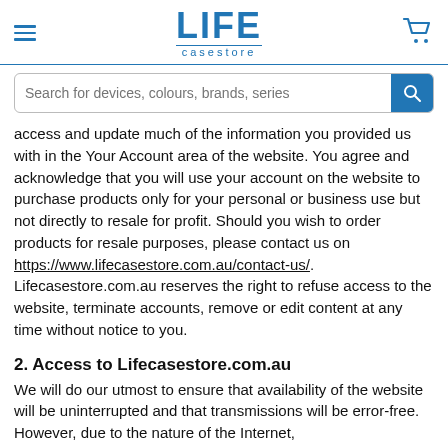LIFE casestore
access and update much of the information you provided us with in the Your Account area of the website. You agree and acknowledge that you will use your account on the website to purchase products only for your personal or business use but not directly to resale for profit. Should you wish to order products for resale purposes, please contact us on https://www.lifecasestore.com.au/contact-us/. Lifecasestore.com.au reserves the right to refuse access to the website, terminate accounts, remove or edit content at any time without notice to you.
2. Access to Lifecasestore.com.au
We will do our utmost to ensure that availability of the website will be uninterrupted and that transmissions will be error-free. However, due to the nature of the Internet,